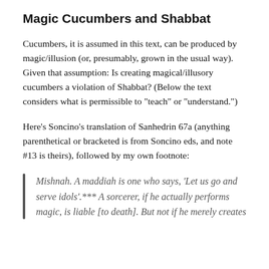Magic Cucumbers and Shabbat
Cucumbers, it is assumed in this text, can be produced by magic/illusion (or, presumably, grown in the usual way). Given that assumption: Is creating magical/illusory cucumbers a violation of Shabbat? (Below the text considers what is permissible to “teach” or “understand.”)
Here’s Soncino’s translation of Sanhedrin 67a (anything parenthetical or bracketed is from Soncino eds, and note #13 is theirs), followed by my own footnote:
Mishnah. A maddiah is one who says, ‘Let us go and serve idols’.*** A sorcerer, if he actually performs magic, is liable [to death]. But not if he merely creates